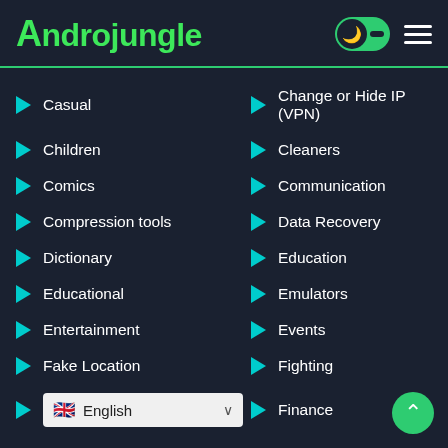Androjungle
Casual
Change or Hide IP (VPN)
Children
Cleaners
Comics
Communication
Compression tools
Data Recovery
Dictionary
Education
Educational
Emulators
Entertainment
Events
Fake Location
Fighting
English
Finance